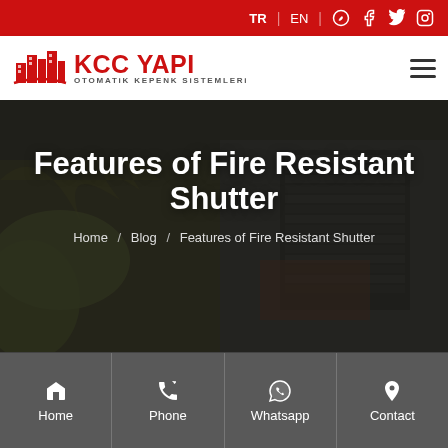TR | EN | WhatsApp | Facebook | Twitter | Instagram
[Figure (logo): KCC YAPI logo with red building silhouette icon and text 'KCC YAPI OTOMATiK KEPENK SiSTEMLERi']
Features of Fire Resistant Shutter
Home / Blog / Features of Fire Resistant Shutter
Home | Phone | Whatsapp | Contact